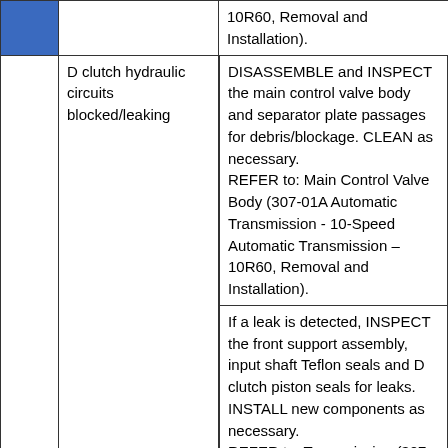|  |  | Action |
| --- | --- | --- |
|  |  | 10R60, Removal and Installation). |
|  | D clutch hydraulic circuits blocked/leaking | DISASSEMBLE and INSPECT the main control valve body and separator plate passages for debris/blockage. CLEAN as necessary.
REFER to: Main Control Valve Body (307-01A Automatic Transmission - 10-Speed Automatic Transmission – 10R60, Removal and Installation). |
|  |  | If a leak is detected, INSPECT the front support assembly, input shaft Teflon seals and D clutch piston seals for leaks. INSTALL new components as necessary.
REFER to: Transmission (307-01B Automatic Transmission - 10-Speed Automatic |